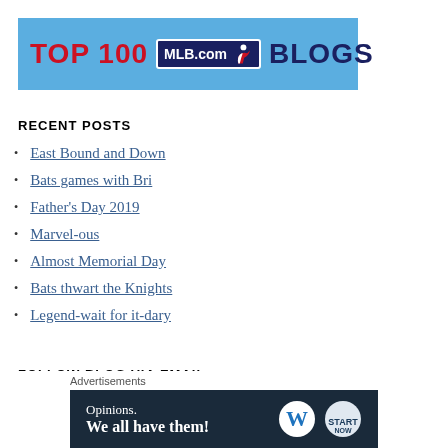[Figure (logo): Top 100 MLB.com Blogs banner — sky blue background with 'TOP 100' in red bold text, MLB.com logo badge in navy, silhouette of batter, and 'BLOGS' in navy bold text]
RECENT POSTS
East Bound and Down
Bats games with Bri
Father's Day 2019
Marvel-ous
Almost Memorial Day
Bats thwart the Knights
Legend-wait for it-dary
FOLLOW BLOG VIA EMAIL
[Figure (screenshot): Advertisement banner: dark navy background with 'Opinions. We all have them!' text in white, WordPress logo and another circular logo on the right. 'Advertisements' label above it.]